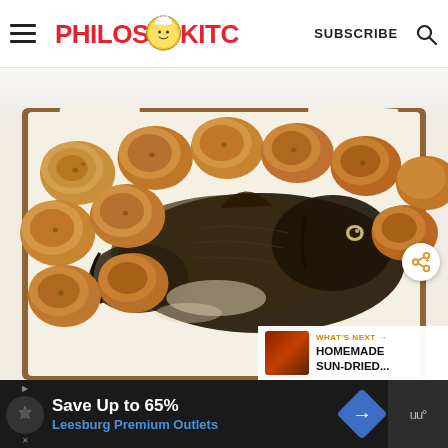Philos Kitchen — SUBSCRIBE
[Figure (photo): Overhead photo of a baking tray with roasted round potato slices and a whole roasted fish (dark-skinned), lined with parchment paper, on a white wooden surface.]
WHAT'S NEXT → HOMEMADE SUN-DRIED...
Save Up to 65% Leesburg Premium Outlets